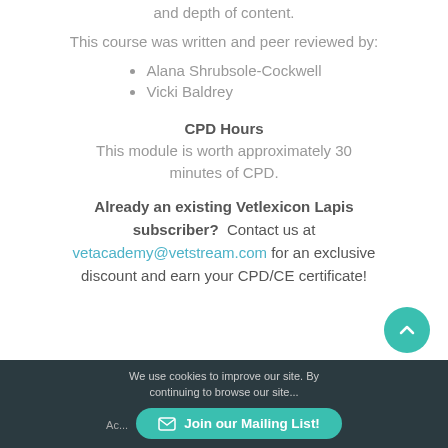and depth of content.
This course was written and peer reviewed by:
Alana Shrubsole-Cockwell
Vicki Baldrey
CPD Hours
This module is worth approximately 30 minutes of CPD.
Already an existing Vetlexicon Lapis subscriber?  Contact us at vetacademy@vetstream.com for an exclusive discount and earn your CPD/CE certificate!
We use cookies to improve our site. By continuing to browse our site... Accept | Join our Mailing List!